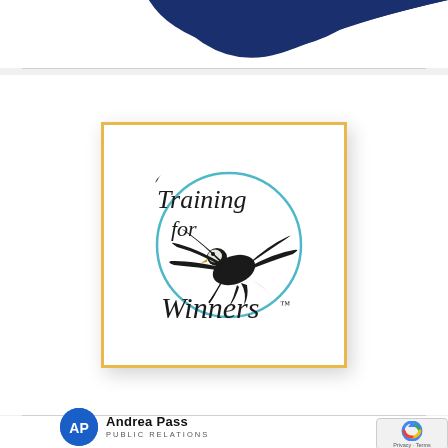[Figure (logo): Partial dark navy blue curved shape at top of page]
[Figure (logo): Training for Winners logo: script text 'Training for Winners TM' with a bald eagle in flight inside a teal circle, enclosed in a gold-bordered white box with drop shadow]
[Figure (logo): Andrea Pass Public Relations logo: blue circle with white AP letters, bold text 'Andrea Pass PUBLIC RELATIONS']
[Figure (logo): Google reCAPTCHA badge: circular arrow icon with 'Privacy - Terms' text]